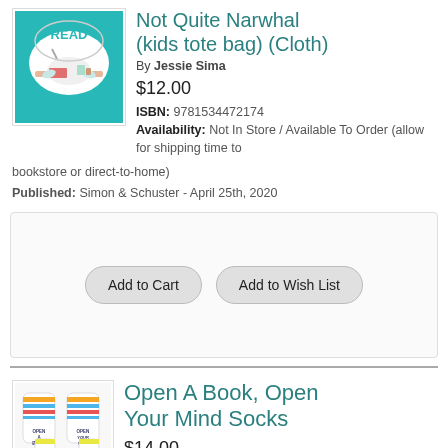[Figure (illustration): Teal background book cover/tote bag image with a narwhal character reading at a desk and the word READ in a speech bubble]
Not Quite Narwhal (kids tote bag) (Cloth)
By Jessie Sima
$12.00
ISBN: 9781534472174
Availability: Not In Store / Available To Order (allow for shipping time to bookstore or direct-to-home)
Published: Simon & Schuster - April 25th, 2020
Add to Cart
Add to Wish List
[Figure (photo): Photo of colorful striped socks with text OPEN A BOOK and OPEN YOUR MIND on them]
Open A Book, Open Your Mind Socks
$14.00